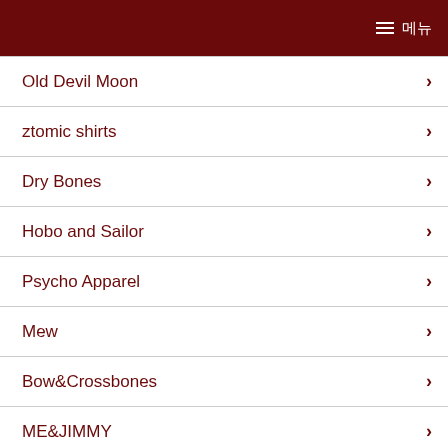메뉴
Old Devil Moon
ztomic shirts
Dry Bones
Hobo and Sailor
Psycho Apparel
Mew
Bow&Crossbones
ME&JIMMY
Hey Viv Retro Clothing
RAWHIDE